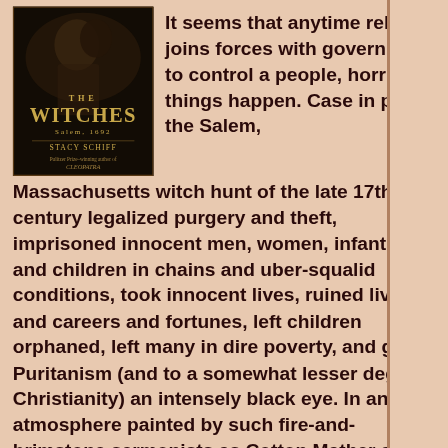[Figure (illustration): Book cover of 'The Witches: Salem, 1692' by Stacy Schiff, showing a dark atmospheric image with the title in large stylized letters and subtitle text.]
It seems that anytime religion joins forces with government to control a people, horrible things happen. Case in point, the Salem, Massachusetts witch hunt of the late 17th century legalized purgery and theft, imprisoned innocent men, women, infants, and children in chains and uber-squalid conditions, took innocent lives, ruined lives and careers and fortunes, left children orphaned, left many in dire poverty, and gave Puritanism (and to a somewhat lesser degree, Christianity) an intensely black eye. In an atmosphere painted by such fire-and-brimstone sermonists as Cotton Mather and his father Increase Mather, a few mischievous and/or hysterical adolescent girls began an epidemic of witch accusations and subsequent trials where no evidence was presented except